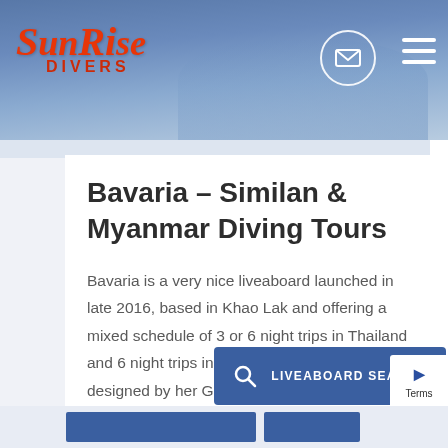[Figure (logo): SunRise Divers logo with orange italic script text on blue water background header, with email circle icon and hamburger menu]
Bavaria – Similan & Myanmar Diving Tours
Bavaria is a very nice liveaboard launched in late 2016, based in Khao Lak and offering a mixed schedule of 3 or 6 night trips in Thailand and 6 night trips in Myanmar. The boat was designed by her German owner who has many years of experience he [...]
Prices starting from 6,900 T
[Figure (screenshot): LIVEABOARD SEARCH button in dark blue]